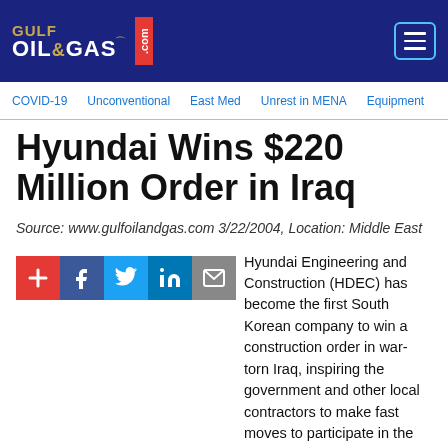GULF OIL&GAS .com
COVID-19   Unconventional   East Med   Unrest in MENA   Equipment
Hyundai Wins $220 Million Order in Iraq
Source: www.gulfoilandgas.com 3/22/2004, Location: Middle East
[Figure (other): Social share buttons: plus, Facebook, Twitter, LinkedIn, Email]
Hyundai Engineering and Construction (HDEC) has become the first South Korean company to win a construction order in war-torn Iraq, inspiring the government and other local contractors to make fast moves to participate in the reconstruction projects. HDEC announced on Monday that it received a $220-million order from the Coalition Provisional Authority Program Management Office in Iraq to reconstruct the war-ravaged Middle East country.